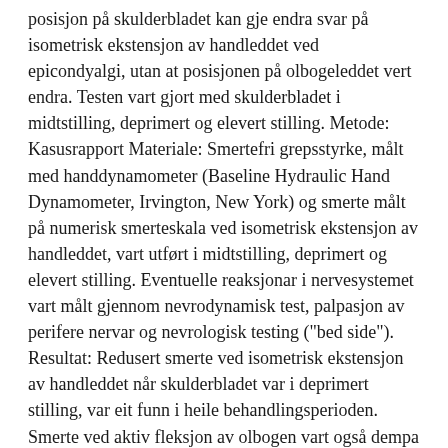posisjon på skulderbladet kan gje endra svar på isometrisk ekstensjon av handleddet ved epicondyalgi, utan at posisjonen på olbogeleddet vert endra. Testen vart gjort med skulderbladet i midtstilling, deprimert og elevert stilling. Metode: Kasusrapport Materiale: Smertefri grepsstyrke, målt med handdynamometer (Baseline Hydraulic Hand Dynamometer, Irvington, New York) og smerte målt på numerisk smerteskala ved isometrisk ekstensjon av handleddet, vart utført i midtstilling, deprimert og elevert stilling. Eventuelle reaksjonar i nervesystemet vart målt gjennom nevrodynamisk test, palpasjon av perifere nervar og nevrologisk testing ("bed side"). Resultat: Redusert smerte ved isometrisk ekstensjon av handleddet når skulderbladet var i deprimert stilling, var eit funn i heile behandlingsperioden. Smerte ved aktiv fleksjon av olbogen vart også dempa ved depresjon av skulderbladet. Gradvis betring i grepsstyrke og gradvis redusert smerte ved isometrisk ekstensjon av handleddet, samsvara med aukande utslag på nevrodynamisk test, ULNT 2b (n. radialis). Trening